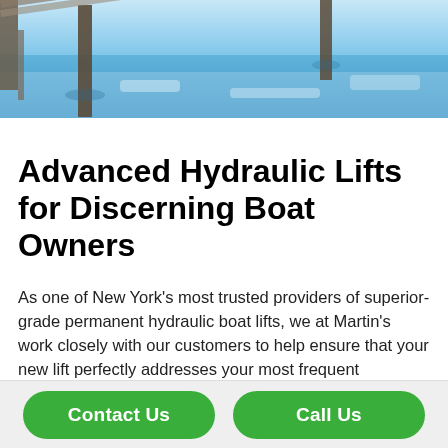[Figure (photo): Outdoor winter scene showing a frozen or icy waterway with dock posts/pilings visible, snow on the ground, blue sky reflecting on the water surface.]
Advanced Hydraulic Lifts for Discerning Boat Owners
As one of New York's most trusted providers of superior-grade permanent hydraulic boat lifts, we at Martin's work closely with our customers to help ensure that your new lift perfectly addresses your most frequent applications.  We do on-site estimates and consultations, and always answer our phones when you have a technical question or questions about features, operation and other common service inquiries.
Contact Us   Call Us